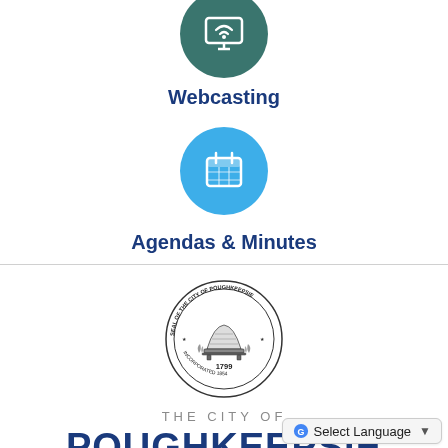[Figure (illustration): Teal circular icon with a webcasting/video symbol (partially visible at top)]
Webcasting
[Figure (illustration): Blue circular icon with a calendar/agenda symbol]
Agendas & Minutes
[Figure (illustration): Seal of the City of Poughkeepsie, circular seal with beehive motif and text reading SEAL OF THE CITY OF POUGHKEEPSIE, 1799, INCORPORATED 1854]
THE CITY OF
POUGHKEEPSIE